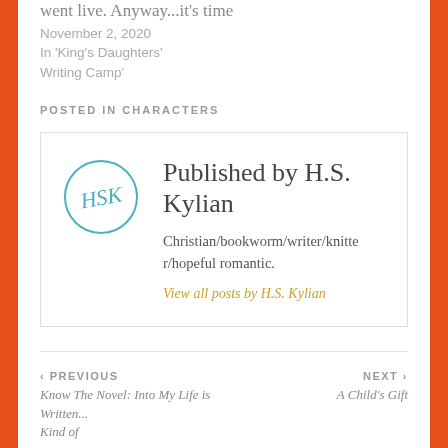went live. Anyway...it's time
November 2, 2020
In 'King's Daughters' Writing Camp'
POSTED IN CHARACTERS
Published by H.S. Kylian
Christian/bookworm/writer/knitter/hopeful romantic.
View all posts by H.S. Kylian
‹ PREVIOUS
Know The Novel: Into My Life is Written... Kind of
NEXT ›
A Child's Gift